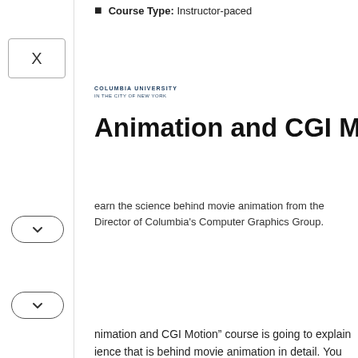Course Type: Instructor-paced
[Figure (logo): Columbia University logo/wordmark in dark blue]
Animation and CGI Motion
Learn the science behind movie animation from the Director of Columbia's Computer Graphics Group.
Animation and CGI Motion" course is going to explain the science that is behind movie animation in detail. You will be taught how to code your own physics simulator and master the fundamental algorithms in a step-by-step
The reason why we chose this course is its focus on explaining the temporal integration of the equations of motion. You will learn all about the formulation of mathematical models for mechanical systems. This course is suitable for those who wish to understand the numerical methods for treating contact